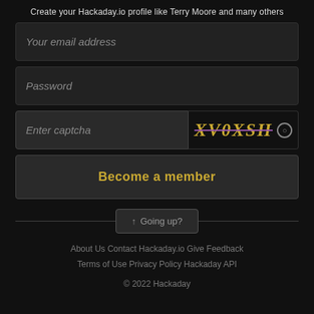Create your Hackaday.io profile like Terry Moore and many others
Your email address
Password
Enter captcha
[Figure (other): CAPTCHA image showing distorted text XV0XSH in gold/yellow with purple strikethrough, and a circular refresh icon]
Become a member
↑ Going up?
About Us   Contact Hackaday.io   Give Feedback   Terms of Use   Privacy Policy   Hackaday API
© 2022 Hackaday